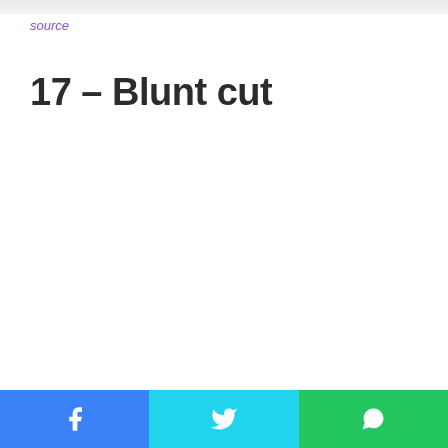[Figure (photo): Partial bottom edge of a photo showing people, cropped at top of page]
source
17 – Blunt cut
[Figure (other): Social media share buttons: Facebook (blue), Twitter (cyan), WhatsApp (green)]